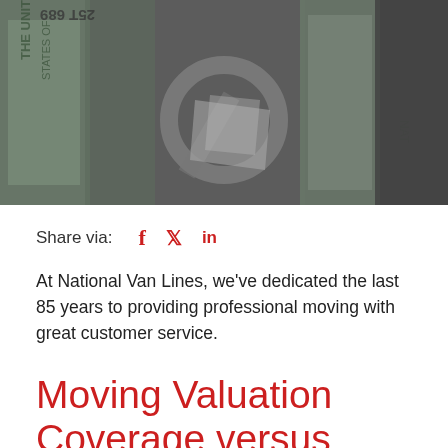[Figure (photo): Close-up photograph of rolled US dollar bills and coins, with a wrench or tool visible, suggesting financial or moving cost concept.]
Share via: f 🐦 in
At National Van Lines, we've dedicated the last 85 years to providing professional moving with great customer service.
Moving Valuation Coverage versus